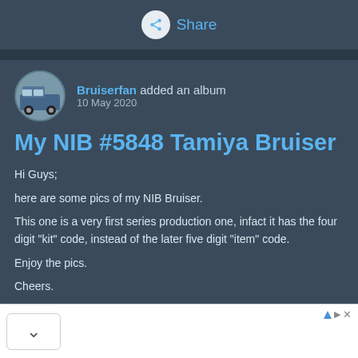Share
Bruiserfan added an album
10 May 2020
My NIB #5848 Tamiya Bruiser
Hi Guys;

here are some pics of my NIB Bruiser.

This one is a very first series production one, infact it has the four digit "kit" code, instead of the later five digit "item" code.

Enjoy the pics.

Cheers.
A&P License Training
FAA Aviation Training in Manassas With Financial Aid If You Qualify. Aviation Institute